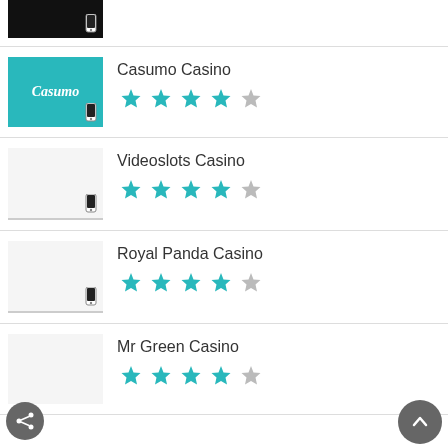[Figure (screenshot): Partial casino logo at top, dark background with phone icon]
Casumo Casino - 4.5 stars
Videoslots Casino - 4.5 stars
Royal Panda Casino - 4.5 stars
Mr Green Casino - 4.5 stars